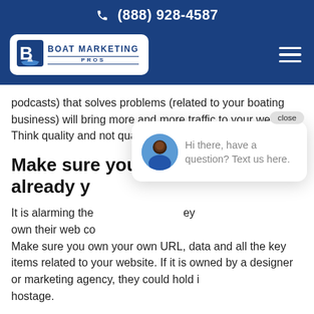(888) 928-4587
[Figure (logo): Boat Marketing Pros logo — white rounded rectangle with blue B icon and text]
podcasts) that solves problems (related to your boating business) will bring more and more traffic to your website. Think quality and not quantity.
Make sure you control what you already yo
It is alarming the ... own their web co...
Make sure you own your own URL, data and all the key items related to your website. If it is owned by a designer or marketing agency, they could hold it hostage.
[Figure (screenshot): Chat popup with avatar and text: Hi there, have a question? Text us here. Close button visible. Blue chat bubble button in bottom right.]